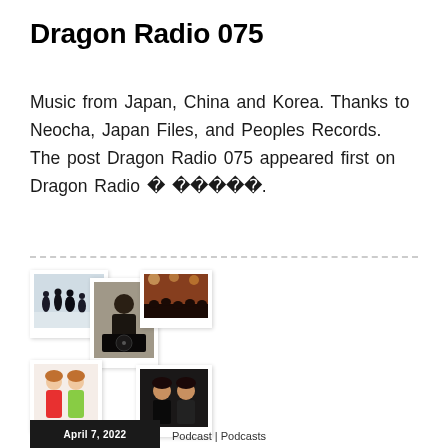Dragon Radio 075
Music from Japan, China and Korea. Thanks to Neocha, Japan Files, and Peoples Records. The post Dragon Radio 075 appeared first on Dragon Radio � �����.
[Figure (photo): Collage of polaroid-style photos showing silhouettes of people, a DJ at turntables, a concert scene, two girls posing, and two guys posing]
April 7, 2022    Podcast | Podcasts